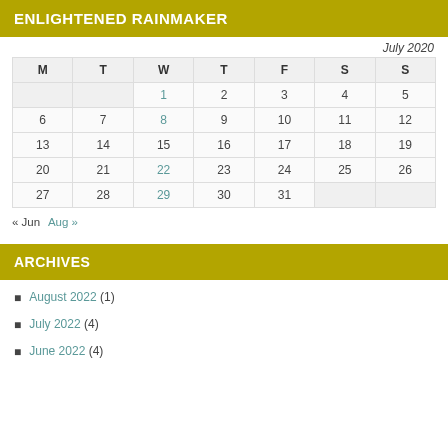ENLIGHTENED RAINMAKER
| M | T | W | T | F | S | S |
| --- | --- | --- | --- | --- | --- | --- |
|  |  | 1 | 2 | 3 | 4 | 5 |
| 6 | 7 | 8 | 9 | 10 | 11 | 12 |
| 13 | 14 | 15 | 16 | 17 | 18 | 19 |
| 20 | 21 | 22 | 23 | 24 | 25 | 26 |
| 27 | 28 | 29 | 30 | 31 |  |  |
« Jun  Aug »
ARCHIVES
August 2022 (1)
July 2022 (4)
June 2022 (4)